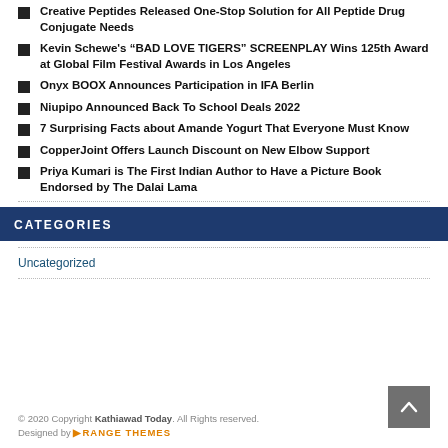Creative Peptides Released One-Stop Solution for All Peptide Drug Conjugate Needs
Kevin Schewe’s “BAD LOVE TIGERS” SCREENPLAY Wins 125th Award at Global Film Festival Awards in Los Angeles
Onyx BOOX Announces Participation in IFA Berlin
Niupipo Announced Back To School Deals 2022
7 Surprising Facts about Amande Yogurt That Everyone Must Know
CopperJoint Offers Launch Discount on New Elbow Support
Priya Kumari is The First Indian Author to Have a Picture Book Endorsed by The Dalai Lama
CATEGORIES
Uncategorized
© 2020 Copyright Kathiawad Today. All Rights reserved. Designed by ORANGE THEMES